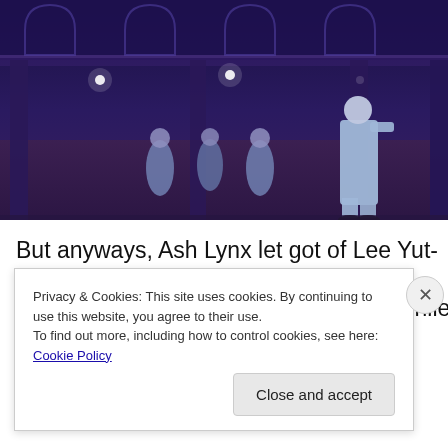[Figure (illustration): Anime screenshot showing characters in a dark outdoor courtyard at night with purple lighting. A tall character in a light blue suit stands facing away on the right, and three other characters are visible in the middle-background area.]
But anyways, Ash Lynx let got of Lee Yut-Lung because he hates Yut-Lung for being a prick, while Blanca told Fiji
Privacy & Cookies: This site uses cookies. By continuing to use this website, you agree to their use.
To find out more, including how to control cookies, see here: Cookie Policy
Close and accept